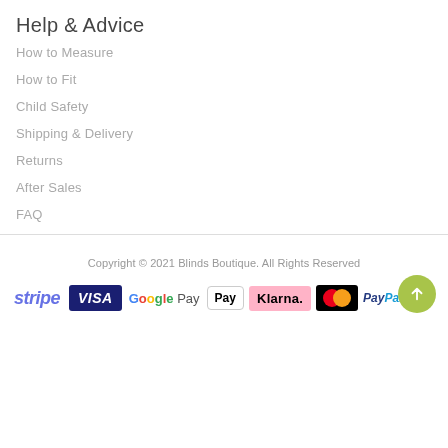Help & Advice
How to Measure
How to Fit
Child Safety
Shipping & Delivery
Returns
After Sales
FAQ
Copyright © 2021 Blinds Boutique. All Rights Reserved
[Figure (logo): Payment method logos: Stripe, Visa, Google Pay, Apple Pay, Klarna, Mastercard, PayPal with back-to-top button]